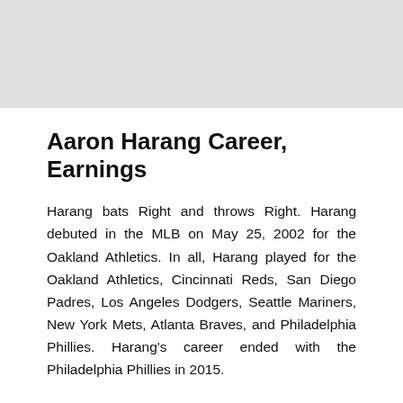[Figure (photo): Gray placeholder image at the top of the page]
Aaron Harang Career, Earnings
Harang bats Right and throws Right. Harang debuted in the MLB on May 25, 2002 for the Oakland Athletics. In all, Harang played for the Oakland Athletics, Cincinnati Reds, San Diego Padres, Los Angeles Dodgers, Seattle Mariners, New York Mets, Atlanta Braves, and Philadelphia Phillies. Harang's career ended with the Philadelphia Phillies in 2015.
Some of Harang's most prominent statistics in the MLB included a Win-loss record (pitching) stat of 128-143, a Earned run average stat of 4.26, and a Strikeouts stat of